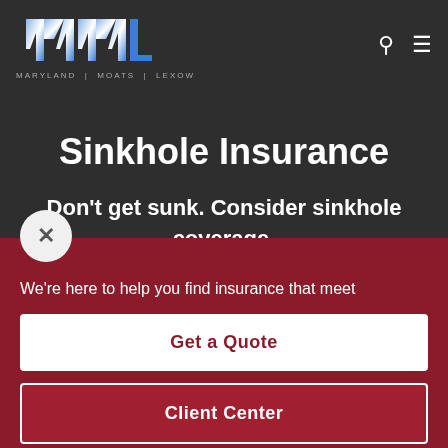[Figure (logo): MML Maryland Moats Lexow logo with stylized blue and white M letters and an L shape]
Sinkhole Insurance
Don't get sunk. Consider sinkhole coverage.
We're here to help you find insurance that meet
Get a Quote
Client Center